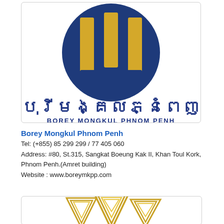[Figure (logo): Borey Mongkul Phnom Penh logo: dark blue circle with three gold/yellow rectangular pillars, Khmer script text and English brand name below]
Borey Mongkul Phnom Penh
Tel: (+855) 85 299 299 / 77 405 060
Address: #80, St.315, Sangkat Boeung Kak II, Khan Toul Kork, Phnom Penh.(Amret building)
Website : www.boreymkpp.com
[Figure (logo): Partial view of gold/yellow arrow/spire shapes logo at bottom of page]